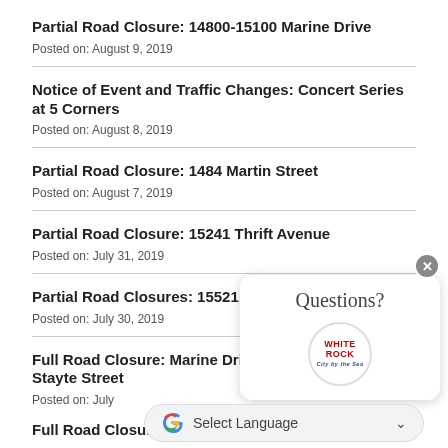Partial Road Closure: 14800-15100 Marine Drive
Posted on: August 9, 2019
Notice of Event and Traffic Changes: Concert Series at 5 Corners
Posted on: August 8, 2019
Partial Road Closure: 1484 Martin Street
Posted on: August 7, 2019
Partial Road Closure: 15241 Thrift Avenue
Posted on: July 31, 2019
Partial Road Closures: 15521 Russell Avenue
Posted on: July 30, 2019
Full Road Closure: Marine Drive from High Street to Stayte Street
Posted on: July
Full Road Closure: Marine Drive from Bulow Street...